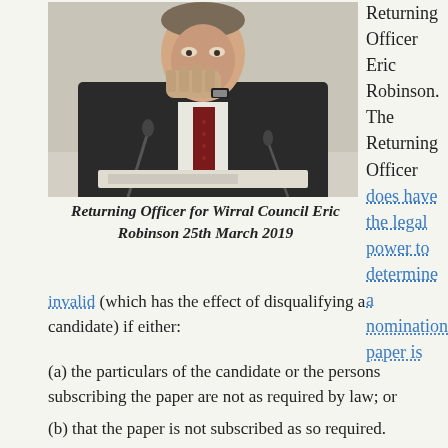[Figure (photo): A man in a dark suit with a red tie sitting at a table, resting his chin/hand near his face, with a microphone in front of him.]
Returning Officer for Wirral Council Eric Robinson 25th March 2019
Returning Officer Eric Robinson. The Returning Officer does have the legal power to determine a nomination paper is invalid (which has the effect of disqualifying a candidate) if either:
(a) the particulars of the candidate or the persons subscribing the paper are not as required by law; or
(b) that the paper is not subscribed as so required.